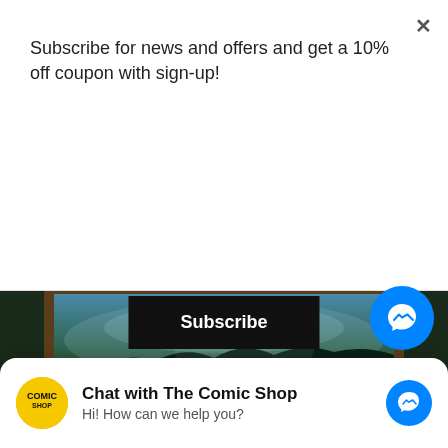Subscribe for news and offers and get a 10% off coupon with sign-up!
Subscribe
[Figure (photo): Magic: The Gathering card showing Misty Rainforest land card. The card features a lush forest/jungle artwork with blue-green atmospheric lighting. The bottom portion shows the card text area with 'Land' type and rules text: 'T, Pay 1 life, Sacrifice Misty Rainforest: Search your library for a Forest or Island card, put it']
Chat with The Comic Shop
Hi! How can we help you?